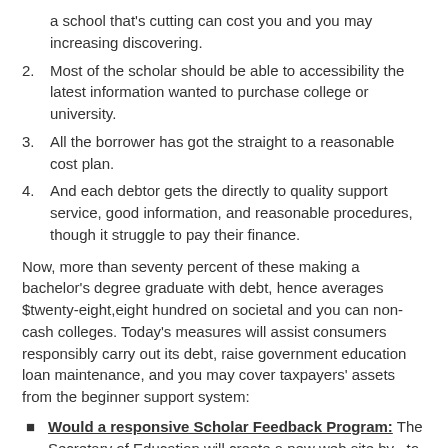a school that's cutting can cost you and you may increasing discovering.
Most of the scholar should be able to accessibility the latest information wanted to purchase college or university.
All the borrower has got the straight to a reasonable cost plan.
And each debtor gets the directly to quality support service, good information, and reasonable procedures, though it struggle to pay their finance.
Now, more than seventy percent of these making a bachelor’s degree graduate with debt, hence averages $twenty-eight,eight hundred on societal and you can non-cash colleges. Today’s measures will assist consumers responsibly carry out its debt, raise government education loan maintenance, and you may cover taxpayers’ assets from the beginner support system:
Would a responsive Scholar Feedback Program: The Secretary of Education will create a new web site by , to give students and borrowers a simple and straightforward way to file complaints and provide feedback about federal student loan lenders,